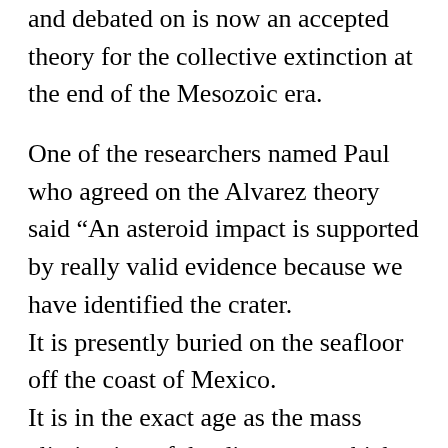and debated on is now an accepted theory for the collective extinction at the end of the Mesozoic era.
One of the researchers named Paul who agreed on the Alvarez theory said “An asteroid impact is supported by really valid evidence because we have identified the crater.
It is presently buried on the seafloor off the coast of Mexico.
It is in the exact age as the mass elimination of the dinosaurs, which can be tracked in records all over the world.
The date is accurate for these clay layers around the world and it is estimated to be within a couple of